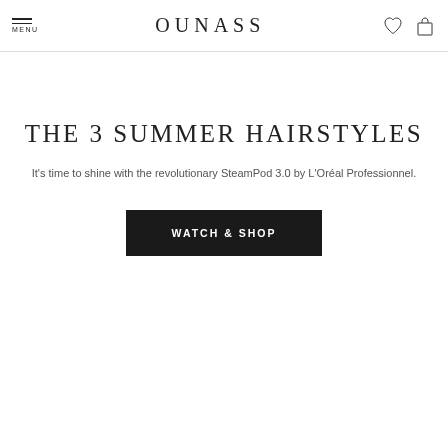MENU | OUNASS
THE 3 SUMMER HAIRSTYLES
It's time to shine with the revolutionary SteamPod 3.0 by L'Oréal Professionnel.
WATCH & SHOP